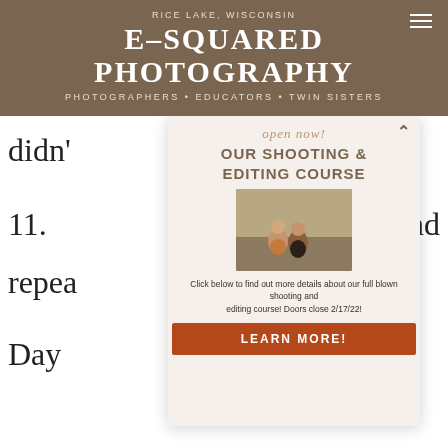RICE LAKE, WISCONSIN
E–SQUARED PHOTOGRAPHY
PHOTOGRAPHERS • EDUCATORS • TWIN SISTERS
didn'
11.
And
repea
Day
[Figure (infographic): Popup modal for 'Our Shooting & Editing Course' with open now label, photo of two women sitting outdoors, description text, and LEARN MORE button]
1. Elsie screams at the top of her lungs for me at 5:30 am letting me know that she is... WANTS TO GO IN THE